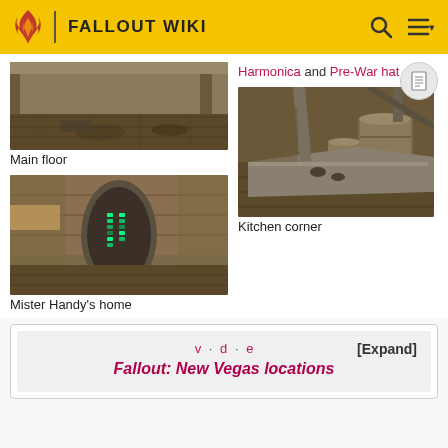FALLOUT WIKI
[Figure (screenshot): Main floor of a location in Fallout New Vegas]
Main floor
[Figure (screenshot): Mister Handy's home - room with sci-fi pod/capsule]
Mister Handy's home
Harmonica and Pre-War hat
[Figure (screenshot): Kitchen corner with barrels and equipment]
Kitchen corner
| v · d · e | [Expand] |
| Fallout: New Vegas locations |  |